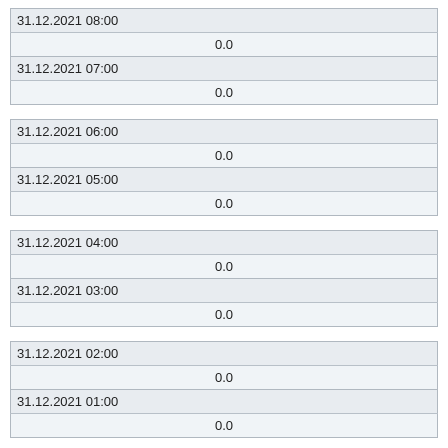| 31.12.2021 08:00 |
| 0.0 |
| 31.12.2021 07:00 |
| 0.0 |
| 31.12.2021 06:00 |
| 0.0 |
| 31.12.2021 05:00 |
| 0.0 |
| 31.12.2021 04:00 |
| 0.0 |
| 31.12.2021 03:00 |
| 0.0 |
| 31.12.2021 02:00 |
| 0.0 |
| 31.12.2021 01:00 |
| 0.0 |